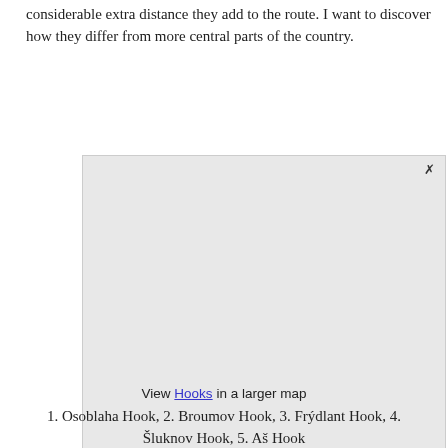considerable extra distance they add to the route. I want to discover how they differ from more central parts of the country.
[Figure (map): A blank/placeholder light gray map image with an X close button in the top right corner.]
View Hooks in a larger map
1. Osoblaha Hook, 2. Broumov Hook, 3. Frýdlant Hook, 4. Šluknov Hook, 5. Aš Hook